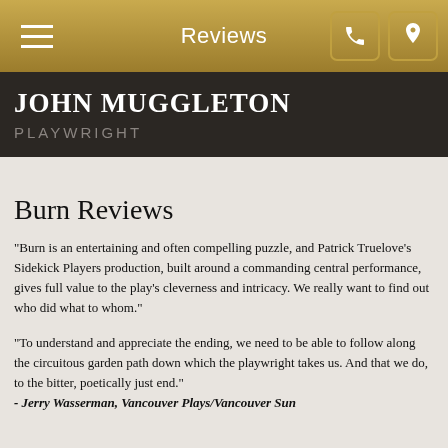Reviews
JOHN MUGGLETON
PLAYWRIGHT
Burn Reviews
"Burn is an entertaining and often compelling puzzle, and Patrick Truelove’s Sidekick Players production, built around a commanding central performance, gives full value to the play’s cleverness and intricacy. We really want to find out who did what to whom."
"To understand and appreciate the ending, we need to be able to follow along the circuitous garden path down which the playwright takes us. And that we do, to the bitter, poetically just end."
- Jerry Wasserman, Vancouver Plays/Vancouver Sun